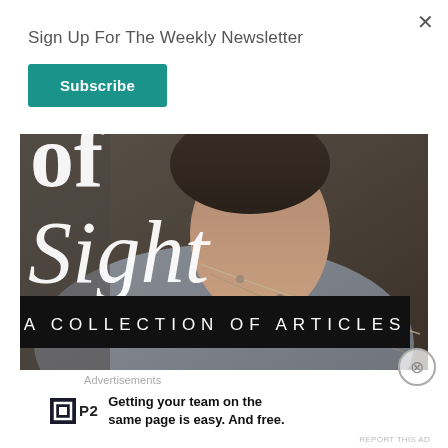Sign Up For The Weekly Newsletter
Subscribe
[Figure (photo): A person wearing a grey shirt and necklaces, looking downward. Large white serif text reads 'of Sight' and below is a black banner reading 'A COLLECTION OF ARTICLES']
Advertisements
Getting your team on the same page is easy. And free.